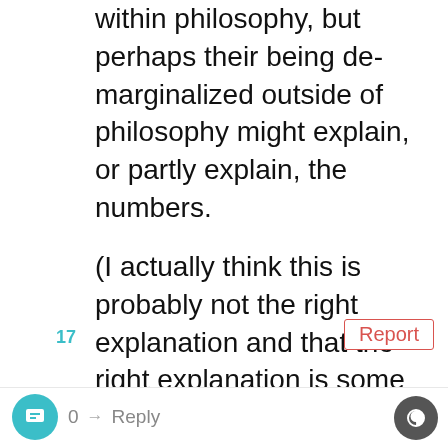within philosophy, but perhaps their being de-marginalized outside of philosophy might explain, or partly explain, the numbers.
(I actually think this is probably not the right explanation and that the right explanation is some combination of (i) everyone feeling marginalized and (ii) perceived (and probably, in terms of attitudes of senior/important people, genuine) marginalization being slow to catch up with actual trends in citation, hiring, conferences, etc.)